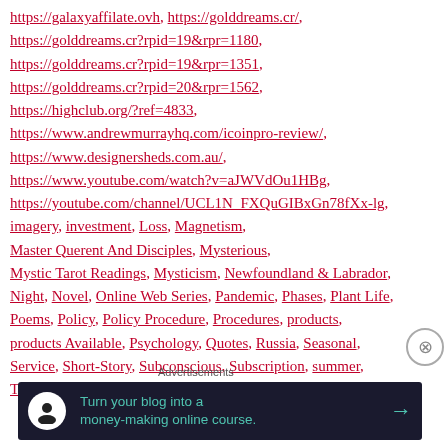https://galaxyaffilate.ovh, https://golddreams.cr/, https://golddreams.cr?rpid=19&rpr=1180, https://golddreams.cr?rpid=19&rpr=1351, https://golddreams.cr?rpid=20&rpr=1562, https://highclub.org/?ref=4833, https://www.andrewmurrayhq.com/icoinpro-review/, https://www.designersheds.com.au/, https://www.youtube.com/watch?v=aJWVdOu1HBg, https://youtube.com/channel/UCL1N_FXQuGIBxGn78fXx-lg, imagery, investment, Loss, Magnetism, Master Querent And Disciples, Mysterious, Mystic Tarot Readings, Mysticism, Newfoundland & Labrador, Night, Novel, Online Web Series, Pandemic, Phases, Plant Life, Poems, Policy, Policy Procedure, Procedures, products, products Available, Psychology, Quotes, Russia, Seasonal, Service, Short-Story, Subconscious, Subscription, summer, Tarot Readings Available, Techniques, Terrorism,
[Figure (other): Advertisement banner with dark background showing 'Turn your blog into a money-making online course.' with arrow, labeled 'Advertisements']